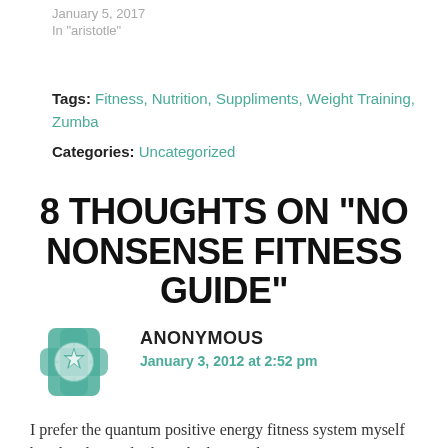January 5, 2017
In "aristotle"
Tags: Fitness, Nutrition, Suppliments, Weight Training, Zumba
Categories: Uncategorized
8 THOUGHTS ON “NO NONSENSE FITNESS GUIDE”
ANONYMOUS
January 3, 2012 at 2:52 pm
I prefer the quantum positive energy fitness system myself but this doesn’t look too bad. I see that grains